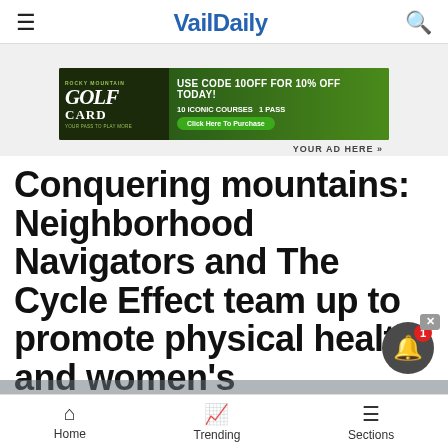VailDaily
[Figure (other): Golf Card advertisement banner: USE CODE 10OFF FOR 10% OFF TODAY! 10 ICONIC COURSES 1 PASS. Click Here To Purchase.]
YOUR AD HERE »
Conquering mountains: Neighborhood Navigators and The Cycle Effect team up to promote physical health and women's empowerment
Home  Trending  Sections